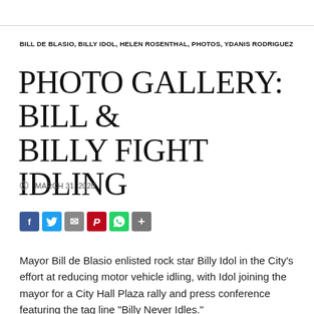BILL DE BLASIO, BILLY IDOL, HELEN ROSENTHAL, PHOTOS, YDANIS RODRIGUEZ
PHOTO GALLERY: BILL & BILLY FIGHT IDLING
MARCH 31, 2020
[Figure (infographic): Social media sharing buttons: Facebook, Twitter, Email, Pinterest, WhatsApp, More]
Mayor Bill de Blasio enlisted rock star Billy Idol in the City's effort at reducing motor vehicle idling, with Idol joining the mayor for a City Hall Plaza rally and press conference featuring the tag line “Billy Never Idles.”